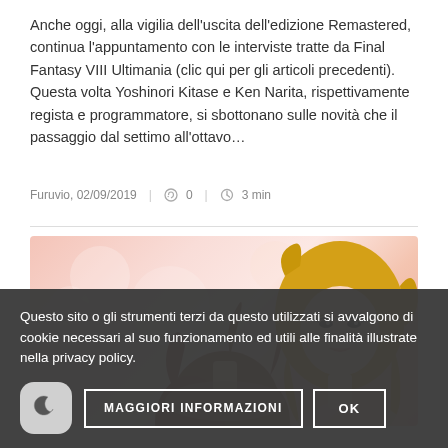Anche oggi, alla vigilia dell'uscita dell'edizione Remastered, continua l'appuntamento con le interviste tratte da Final Fantasy VIII Ultimania (clic qui per gli articoli precedenti). Questa volta Yoshinori Kitase e Ken Narita, rispettivamente regista e programmatore, si sbottonano sulle novità che il passaggio dal settimo all'ottavo…
Furuvio, 02/09/2019  |  0  |  3 min
[Figure (illustration): Anime-style illustration of two characters: a figure with reddish-brown hair facing away and a blonde female character with dramatic makeup, set against a soft pink bokeh background.]
Questo sito o gli strumenti terzi da questo utilizzati si avvalgono di cookie necessari al suo funzionamento ed utili alle finalità illustrate nella privacy policy.
MAGGIORI INFORMAZIONI  |  OK